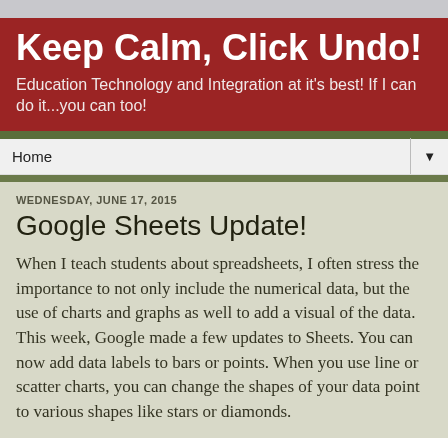Keep Calm, Click Undo!
Education Technology and Integration at it's best! If I can do it...you can too!
Home
WEDNESDAY, JUNE 17, 2015
Google Sheets Update!
When I teach students about spreadsheets, I often stress the importance to not only include the numerical data, but the use of charts and graphs as well to add a visual of the data.  This week, Google made a few updates to Sheets.  You can now add data labels to bars or points.  When you use line or scatter charts, you can change the shapes of your data point to various shapes like stars or diamonds.